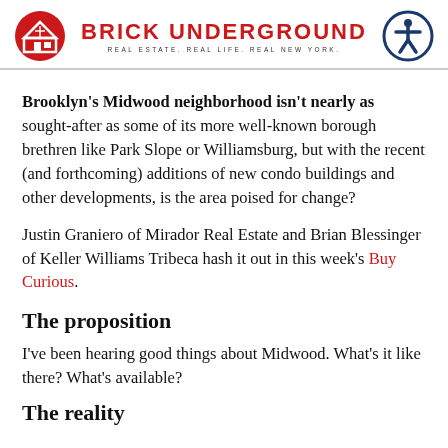BRICK UNDERGROUND | REAL ESTATE. REAL LIFE. REAL NEW YORK.
Brooklyn’s Midwood neighborhood isn’t nearly as sought-after as some of its more well-known borough brethren like Park Slope or Williamsburg, but with the recent (and forthcoming) additions of new condo buildings and other developments, is the area poised for change?
Justin Graniero of Mirador Real Estate and Brian Blessinger of Keller Williams Tribeca hash it out in this week’s Buy Curious.
The proposition
I’ve been hearing good things about Midwood. What’s it like there? What’s available?
The reality